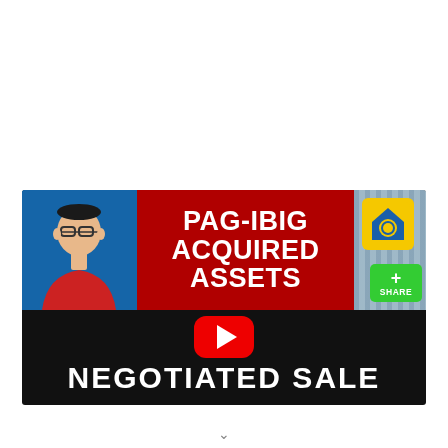[Figure (screenshot): YouTube video thumbnail for 'PAG-IBIG Acquired Assets - Negotiated Sale'. Shows a man in red shirt on blue background on the left, large red background with white bold text 'PAG-IBIG ACQUIRED ASSETS' in the center, Pag-IBIG logo sign on the right, a red YouTube play button in the middle-bottom section, a green Share button, and large white bold text 'NEGOTIATED SALE' on black background at the bottom.]